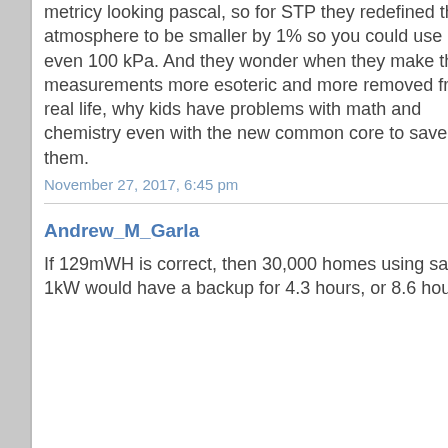metricy looking pascal, so for STP they redefined the atmosphere to be smaller by 1% so you could use an even 100 kPa. And they wonder when they make these measurements more esoteric and more removed from real life, why kids have problems with math and chemistry even with the new common core to save them.
November 27, 2017, 6:45 pm
Andrew_M_Garland
If 129mWH is correct, then 30,000 homes using say 1kW would have a backup for 4.3 hours, or 8.6 hours